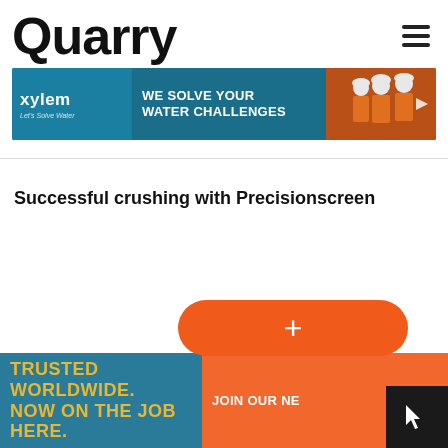Quarry
[Figure (screenshot): Xylem advertisement banner: 'WE SOLVE YOUR WATER CHALLENGES' with workers in orange vests and hard hats]
Successful crushing with Precisionscreen
[Figure (infographic): Orange rounded rectangle button with plus sign (+), overlaid on teal banner reading 'TRUSTED WORLDWIDE. NOW ON THE JOB HERE.' with a newsletter call-to-action overlay 'JOIN OUR NE...' and a dark box in the bottom right corner]